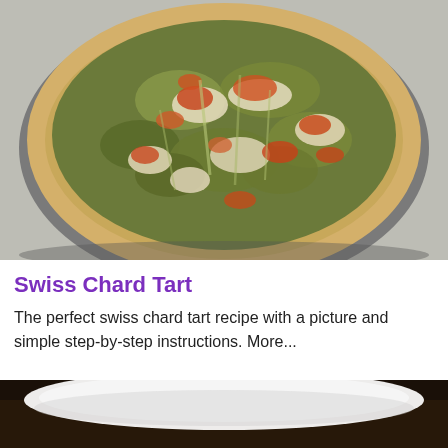[Figure (photo): A baked swiss chard tart in a round springform pan, showing golden-brown and red-spotted cheese topping with green chard filling, sitting on a light speckled countertop.]
Swiss Chard Tart
The perfect swiss chard tart recipe with a picture and simple step-by-step instructions. More...
[Figure (photo): Partial view of a second food photo showing a white plate or dish on a dark background, partially cropped at the bottom of the page.]